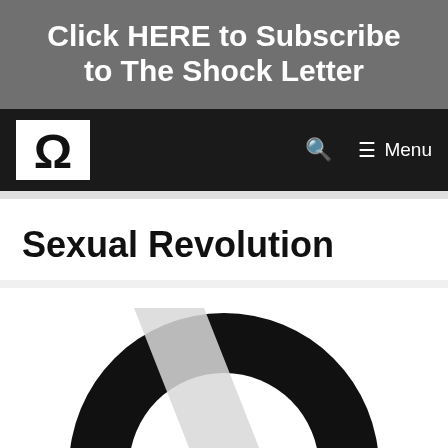Click HERE to Subscribe to The Shock Letter
[Figure (logo): Navigation bar with Omega logo icon on black background, search icon and hamburger menu]
Sexual Revolution
[Figure (logo): Large Omega symbol (Ω) in black with a light gray diagonal stripe, partially cropped at the bottom of the page]